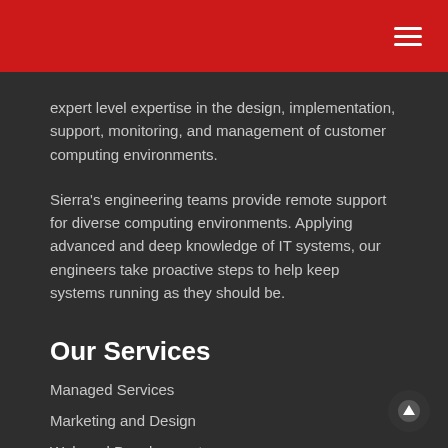expert level expertise in the design, implementation, support, monitoring, and management of customer computing environments.
Sierra's engineering teams provide remote support for diverse computing environments. Applying advanced and deep knowledge of IT systems, our engineers take proactive steps to help keep systems running as they should be.
Our Services
Managed Services
Marketing and Design
Web and Development
Telephony and VoIP